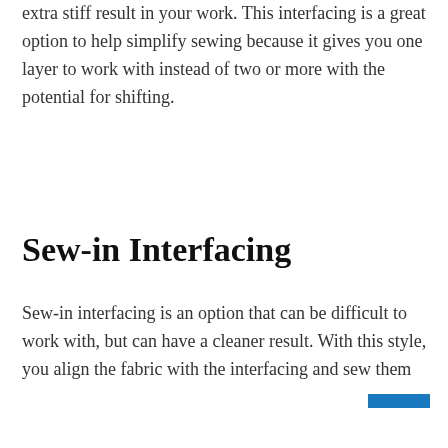extra stiff result in your work. This interfacing is a great option to help simplify sewing because it gives you one layer to work with instead of two or more with the potential for shifting.
Sew-in Interfacing
Sew-in interfacing is an option that can be difficult to work with, but can have a cleaner result. With this style, you align the fabric with the interfacing and sew them